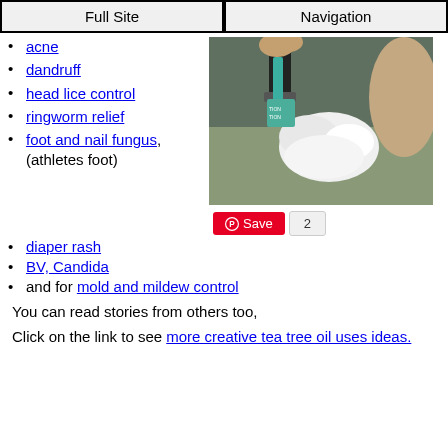Full Site | Navigation
acne
dandruff
head lice control
ringworm relief
foot and nail fungus, (athletes foot)
[Figure (photo): Close-up photo of a razor and shaving cream near skin, likely demonstrating a tea tree oil shaving application]
diaper rash
BV, Candida
and for mold and mildew control
You can read stories from others too,
Click on the link to see more creative tea tree oil uses ideas.